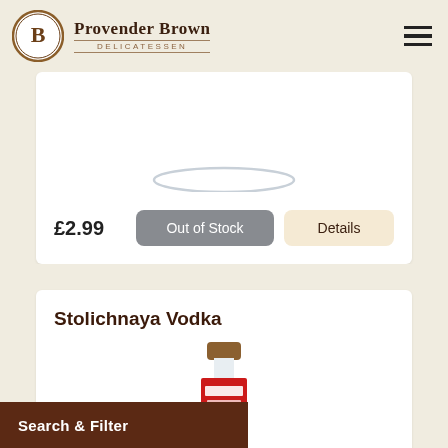Provender Brown DELICATESSEN
£2.99
Out of Stock
Details
Stolichnaya Vodka
[Figure (photo): Stolichnaya Vodka bottle, partially visible showing top portion with red label and brown cap]
Search & Filter